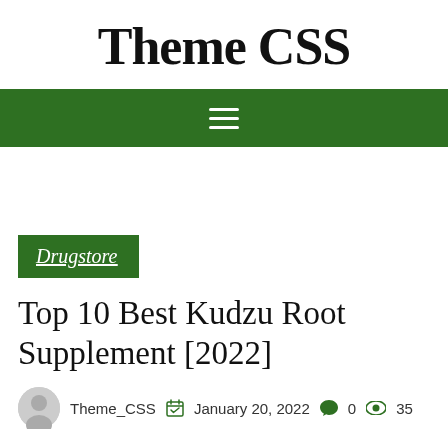Theme CSS
[Figure (other): Green navigation bar with hamburger menu icon (three horizontal white lines)]
Drugstore
Top 10 Best Kudzu Root Supplement [2022]
Theme_CSS   January 20, 2022   0   35